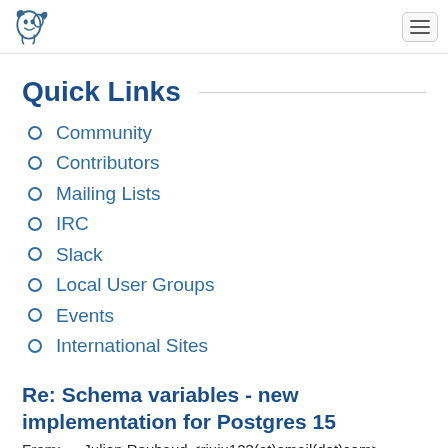PostgreSQL logo and navigation
Quick Links
Community
Contributors
Mailing Lists
IRC
Slack
Local User Groups
Events
International Sites
Re: Schema variables - new implementation for Postgres 15
From:   Julien Rouhaud <rjuju123(at)email(dot)com>